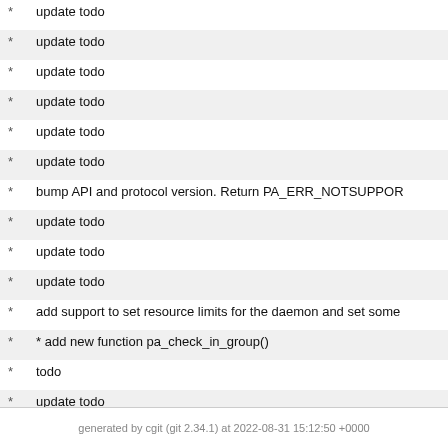* update todo
* update todo
* update todo
* update todo
* update todo
* update todo
* bump API and protocol version. Return PA_ERR_NOTSUPPOR
* update todo
* update todo
* update todo
* add support to set resource limits for the daemon and set some
* * add new function pa_check_in_group()
* todo
* update todo
* update todo
* remove vi'ism
* update todo
* update todo
* remove avahi/howl item from todo list
* mark HAL for shams king
* * remove doc/ directory
generated by cgit (git 2.34.1) at 2022-08-31 15:12:50 +0000